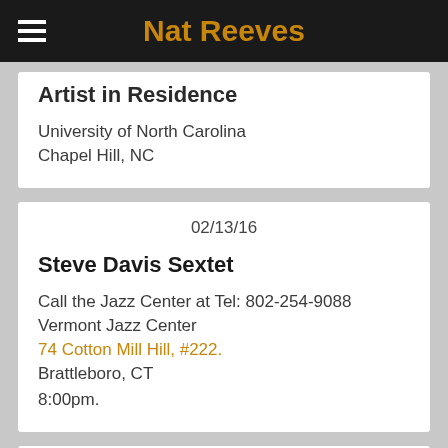Nat Reeves
Artist in Residence
University of North Carolina
Chapel Hill, NC
02/13/16
Steve Davis Sextet
Call the Jazz Center at Tel: 802-254-9088
Vermont Jazz Center
74 Cotton Mill Hill, #222.
Brattleboro, CT
8:00pm.
01/30/16
Shawnn Montiero Trio